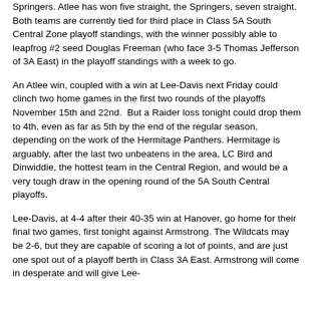Springers. Atlee has won five straight, the Springers, seven straight. Both teams are currently tied for third place in Class 5A South Central Zone playoff standings, with the winner possibly able to leapfrog #2 seed Douglas Freeman (who face 3-5 Thomas Jefferson of 3A East) in the playoff standings with a week to go.
An Atlee win, coupled with a win at Lee-Davis next Friday could clinch two home games in the first two rounds of the playoffs November 15th and 22nd. But a Raider loss tonight could drop them to 4th, even as far as 5th by the end of the regular season, depending on the work of the Hermitage Panthers. Hermitage is arguably, after the last two unbeatens in the area, LC Bird and Dinwiddie, the hottest team in the Central Region, and would be a very tough draw in the opening round of the 5A South Central playoffs.
Lee-Davis, at 4-4 after their 40-35 win at Hanover, go home for their final two games, first tonight against Armstrong. The Wildcats may be 2-6, but they are capable of scoring a lot of points, and are just one spot out of a playoff berth in Class 3A East. Armstrong will come in desperate and will give Lee-